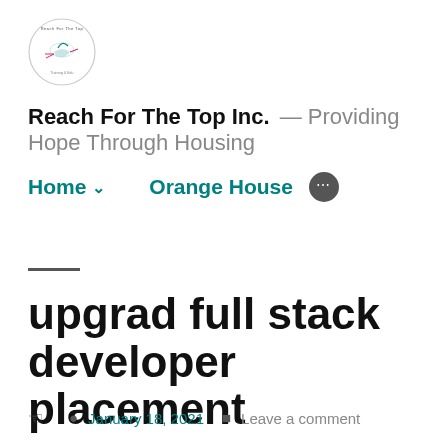[Figure (logo): Reach For The Top Inc. circular logo with hummingbird illustration]
Reach For The Top Inc. — Providing Hope Through Housing
Home ∨   Orange House   ···
upgrad full stack developer placement
January 18, 2021   Leave a comment